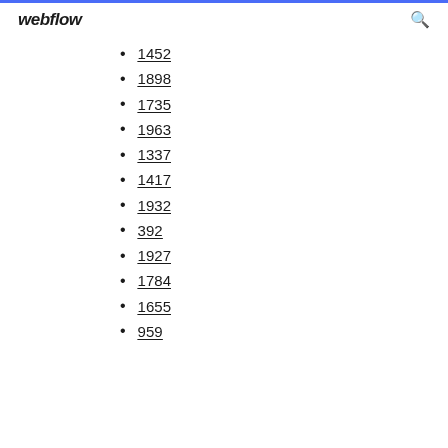webflow
1452
1898
1735
1963
1337
1417
1932
392
1927
1784
1655
959